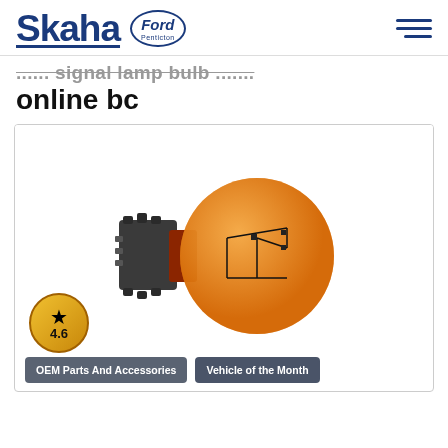Skaha Ford Penticton
...... signal lamp bulb online bc
[Figure (photo): An amber/orange automotive turn signal bulb with black plastic socket/connector base, shown against a white background inside a product card.]
4.6
OEM Parts And Accessories
Vehicle of the Month